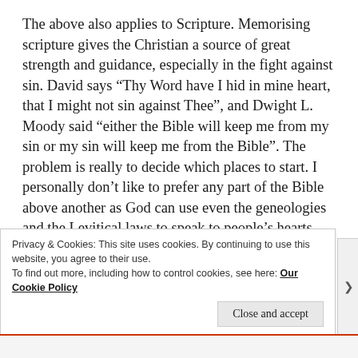The above also applies to Scripture. Memorising scripture gives the Christian a source of great strength and guidance, especially in the fight against sin. David says “Thy Word have I hid in mine heart, that I might not sin against Thee”, and Dwight L. Moody said “either the Bible will keep me from my sin or my sin will keep me from the Bible”. The problem is really to decide which places to start. I personally don’t like to prefer any part of the Bible above another as God can use even the geneologies and the Levitical laws to speak to people’s hearts, and
Privacy & Cookies: This site uses cookies. By continuing to use this website, you agree to their use.
To find out more, including how to control cookies, see here: Our Cookie Policy